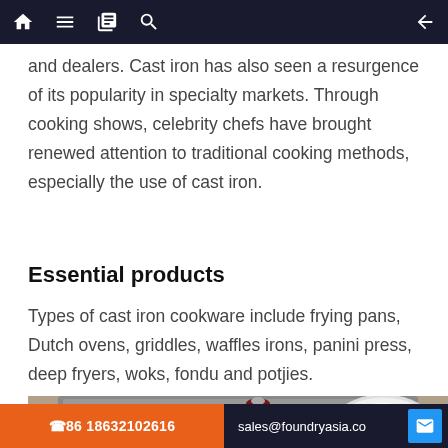Navigation bar with home, menu, book, search, and back icons
and dealers. Cast iron has also seen a resurgence of its popularity in specialty markets. Through cooking shows, celebrity chefs have brought renewed attention to traditional cooking methods, especially the use of cast iron.
Essential products
Types of cast iron cookware include frying pans, Dutch ovens, griddles, waffles irons, panini press, deep fryers, woks, fondu and potjies.
[Figure (photo): Photo of red cast iron cookware including Dutch ovens and a white plate on a kitchen counter with an oven in the background]
📞86 18632102616    sales@foundryasia.co